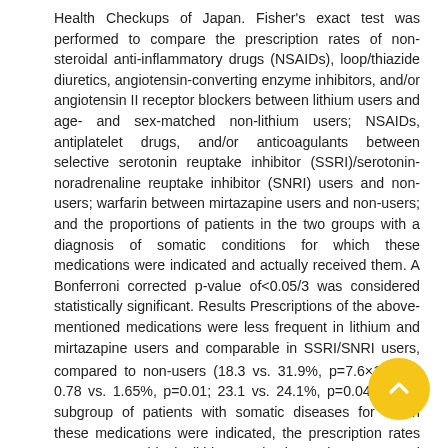Health Checkups of Japan. Fisher's exact test was performed to compare the prescription rates of non-steroidal anti-inflammatory drugs (NSAIDs), loop/thiazide diuretics, angiotensin-converting enzyme inhibitors, and/or angiotensin II receptor blockers between lithium users and age- and sex-matched non-lithium users; NSAIDs, antiplatelet drugs, and/or anticoagulants between selective serotonin reuptake inhibitor (SSRI)/serotonin-noradrenaline reuptake inhibitor (SNRI) users and non-users; warfarin between mirtazapine users and non-users; and the proportions of patients in the two groups with a diagnosis of somatic conditions for which these medications were indicated and actually received them. A Bonferroni corrected p-value of<0.05/3 was considered statistically significant. Results Prescriptions of the above-mentioned medications were less frequent in lithium and mirtazapine users and comparable in SSRI/SNRI users, compared to non-users (18.3 vs. 31.9%, p=7.6×10 −10; 0.78 vs. 1.65%, p=0.01; 23.1 vs. 24.1%, p=0.044). In a subgroup of patients with somatic diseases for which these medications were indicated, the prescription rates were comparable in lithium and mirtazapine users and higher in SSRI/SNRI users compared to non-users (28.0 vs. 29.4%, p=0.73; 4.7 vs. 7.4%, p=0.28; 35.6 vs. 33.4%, p=0.0026). Discussion Pharmacotherapy with drugs for mood...